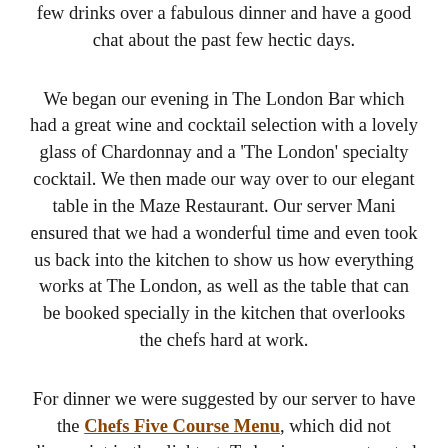few drinks over a fabulous dinner and have a good chat about the past few hectic days.
We began our evening in The London Bar which had a great wine and cocktail selection with a lovely glass of Chardonnay and a 'The London' specialty cocktail. We then made our way over to our elegant table in the Maze Restaurant. Our server Mani ensured that we had a wonderful time and even took us back into the kitchen to show us how everything works at The London, as well as the table that can be booked specially in the kitchen that overlooks the chefs hard at work.
For dinner we were suggested by our server to have the Chefs Five Course Menu, which did not disappoint in the slightest. To begin we were treated to a creamy corn